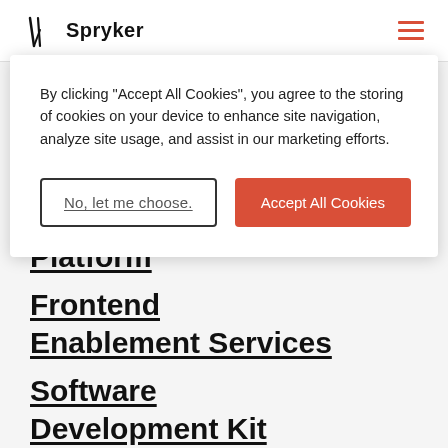Spryker
By clicking "Accept All Cookies", you agree to the storing of cookies on your device to enhance site navigation, analyze site usage, and assist in our marketing efforts.
No, let me choose. | Accept All Cookies
Headless Commerce
Spryker App Composition Platform
Frontend Enablement Services
Software Development Kit